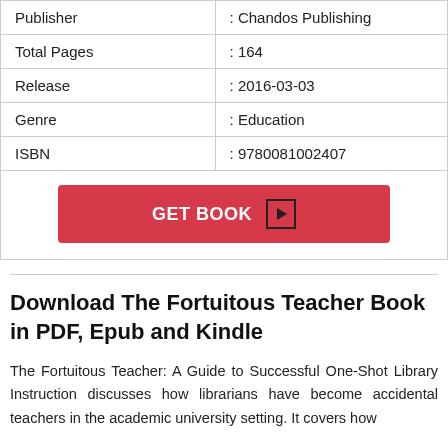| Publisher | : Chandos Publishing |
| Total Pages | : 164 |
| Release | : 2016-03-03 |
| Genre | : Education |
| ISBN | : 9780081002407 |
[Figure (other): Red 'GET BOOK' button with a play icon]
Download The Fortuitous Teacher Book in PDF, Epub and Kindle
The Fortuitous Teacher: A Guide to Successful One-Shot Library Instruction discusses how librarians have become accidental teachers in the academic university setting. It covers how